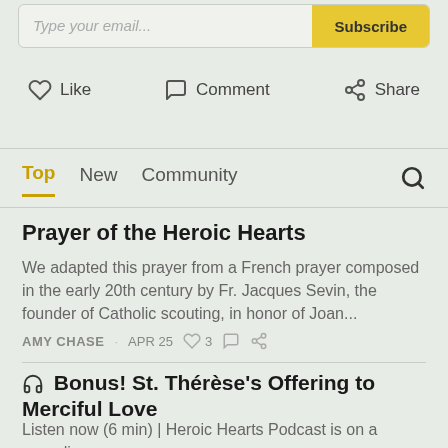[Figure (screenshot): Email subscribe input bar with yellow Subscribe button]
Like   Comment   Share
Top   New   Community
Prayer of the Heroic Hearts
We adapted this prayer from a French prayer composed in the early 20th century by Fr. Jacques Sevin, the founder of Catholic scouting, in honor of Joan...
AMY CHASE · APR 25 ♡ 3
🎧 Bonus! St. Thérèse's Offering to Merciful Love
Listen now (6 min) | Heroic Hearts Podcast is on a recording